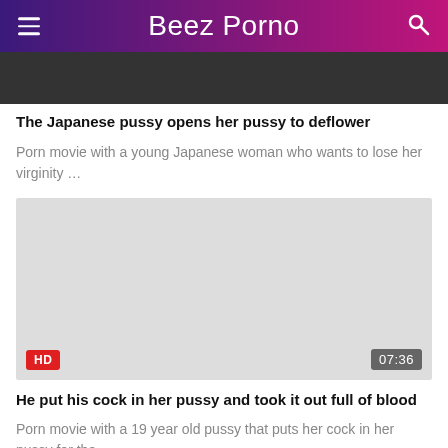Beez Porno
[Figure (photo): Partial thumbnail image of a video]
The Japanese pussy opens her pussy to deflower
Porn movie with a young Japanese woman who wants to lose her virginity …
[Figure (photo): Video thumbnail with HD badge and 07:36 duration]
He put his cock in her pussy and took it out full of blood
Porn movie with a 19 year old pussy that puts her cock in her pussy for the …